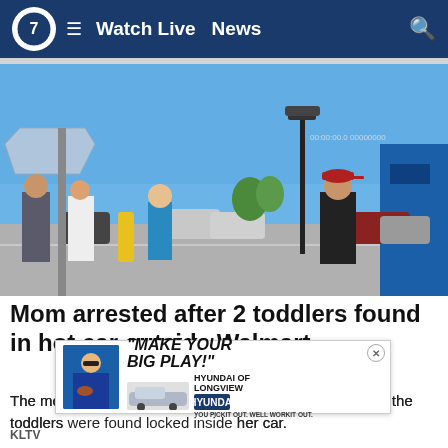Watch Live  News
[Figure (photo): Body camera footage showing people standing in a Walmart parking lot on a sunny day. A child with a blurred face stands in the center. A man in a baseball cap and black t-shirt stands to the right. A police officer is visible on the left. Clear blue sky and parking lot with cars in the background.]
Mom arrested after 2 toddlers found in hot car outside Walmart
The mother is facing two complaints of child neglect after the toddlers were found in her car.
[Figure (infographic): Advertisement overlay: "MAKE YOUR BIG PLAY!" with Hyundai of Longview Hyundai branding and a car image. Person in blue jersey holding football on left side.]
KLTV